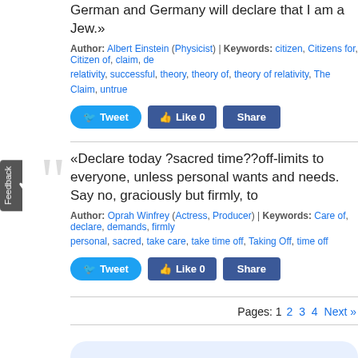German and Germany will declare that I am a Jew.»
Author: Albert Einstein (Physicist) | Keywords: citizen, Citizens for, Citizen of, claim, de... relativity, successful, theory, theory of, theory of relativity, The Claim, untrue
Tweet | Like 0 | Share
«Declare today ?sacred time??off-limits to everyone, unless personal wants and needs. Say no, graciously but firmly, to
Author: Oprah Winfrey (Actress, Producer) | Keywords: Care of, declare, demands, firmly, personal, sacred, take care, take time off, Taking Off, time off
Tweet | Like 0 | Share
Pages: 1 2 3 4 Next »
Browse thousands of free essays & term papers a